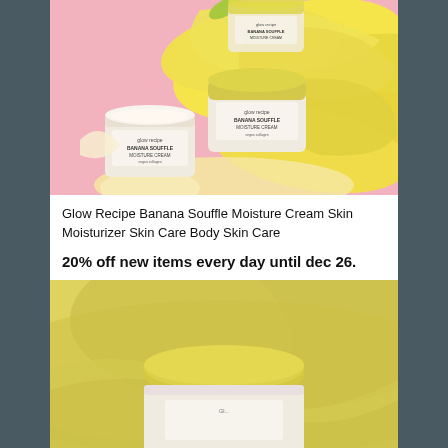[Figure (photo): Product photo of Glow Recipe Banana Souffle Moisture Cream jars displayed with bananas on a pink background]
Glow Recipe Banana Souffle Moisture Cream Skin Moisturizer Skin Care Body Skin Care
20% off new items every day until dec 26.
[Figure (photo): Close-up photo of Glow Recipe Banana Souffle Moisture Cream jar lid on yellow background]